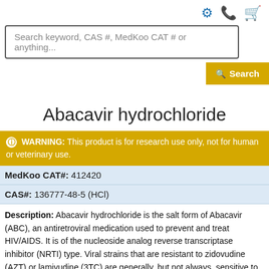Search keyword, CAS #, MedKoo CAT # or anything...
Abacavir hydrochloride
WARNING: This product is for research use only, not for human or veterinary use.
MedKoo CAT#: 412420
CAS#: 136777-48-5 (HCl)
Description: Abacavir hydrochloride is the salt form of Abacavir (ABC), an antiretroviral medication used to prevent and treat HIV/AIDS. It is of the nucleoside analog reverse transcriptase inhibitor (NRTI) type. Viral strains that are resistant to zidovudine (AZT) or lamivudine (3TC) are generally, but not always, sensitive to abacavir. It is on the World Health Organization's List of Essential Medicines, a list of the most important medication needed in a basic health system. It is available under the